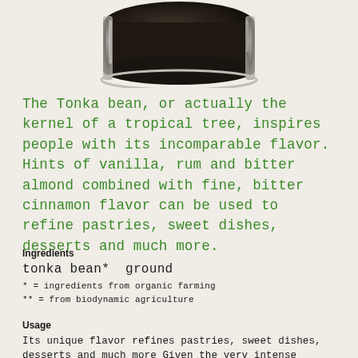[Figure (photo): Bottom portion of a glass jar containing dark ground tonka beans, photographed from above against a light textured background.]
The Tonka bean, or actually the kernel of a tropical tree, inspires people with its incomparable flavor. Hints of vanilla, rum and bitter almond combined with fine, bitter cinnamon flavor can be used to refine pastries, sweet dishes, desserts and much more.
Ingredients
tonka bean*  ground
* = ingredients from organic farming
** = from biodynamic agriculture
Usage
Its unique flavor refines pastries, sweet dishes, desserts and much more Given the very intense flavor and the high